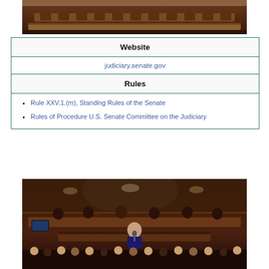[Figure (photo): Empty Senate Judiciary Committee hearing room with wooden desks and chairs]
Website
judiciary.senate.gov
Rules
Rule XXV.1.(m), Standing Rules of the Senate
Rules of Procedure U.S. Senate Committee on the Judiciary
[Figure (photo): Senate Judiciary Committee hearing in session with people at the dais and audience in background, lights overhead]